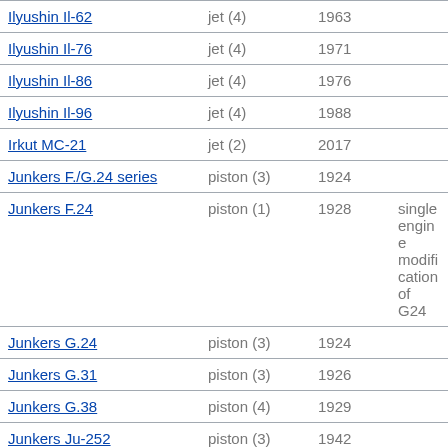| Aircraft | Engine type | First flight | Notes |
| --- | --- | --- | --- |
| Ilyushin Il-62 | jet (4) | 1963 |  |
| Ilyushin Il-76 | jet (4) | 1971 |  |
| Ilyushin Il-86 | jet (4) | 1976 |  |
| Ilyushin Il-96 | jet (4) | 1988 |  |
| Irkut MC-21 | jet (2) | 2017 |  |
| Junkers F./G.24 series | piston (3) | 1924 |  |
| Junkers F.24 | piston (1) | 1928 | single engine modification of G24 |
| Junkers G.24 | piston (3) | 1924 |  |
| Junkers G.31 | piston (3) | 1926 |  |
| Junkers G.38 | piston (4) | 1929 |  |
| Junkers Ju-252 | piston (3) | 1942 |  |
| Junkers Ju-352 Herkules | piston (3) | 1943 |  |